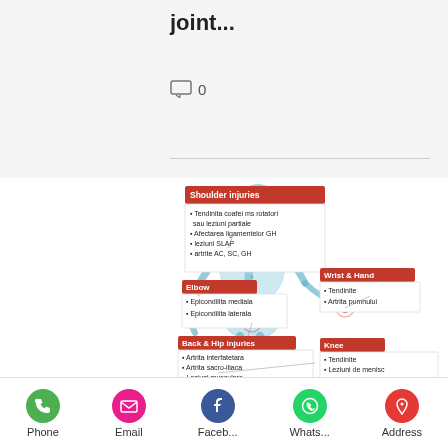joint...
0
[Figure (infographic): Medical infographic showing a running skeleton/anatomy figure with labeled joint injury areas: Shoulder injuries, Elbow, Back & Hip injuries, Wrist & Hand, Knee. Each label box lists specific conditions in Romanian.]
Phone  Email  Faceb...  Whats...  Address